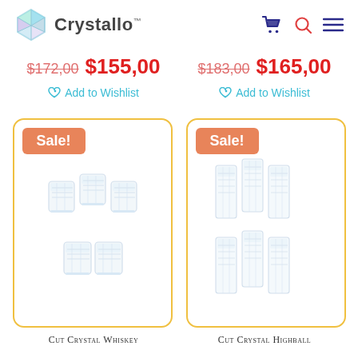Crystallo™ — navigation header
$172,00   $155,00
$183,00   $165,00
♡ Add to Wishlist
♡ Add to Wishlist
[Figure (photo): Cut crystal whiskey glasses set of 5, product image inside a sale card with yellow border and 'Sale!' badge]
[Figure (photo): Cut crystal highball glasses set of 6, product image inside a sale card with yellow border and 'Sale!' badge]
Cut Crystal Whiskey
Cut Crystal Highball